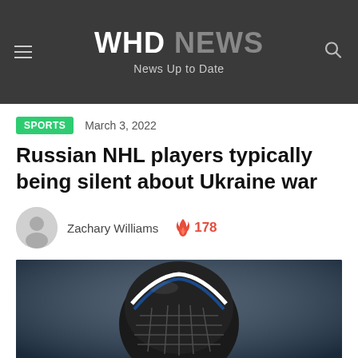WHD NEWS — News Up to Date
SPORTS   March 3, 2022
Russian NHL players typically being silent about Ukraine war
Zachary Williams  🔥 178
[Figure (photo): Hockey goalie wearing a black and white helmet with cage, dark blurred arena background]